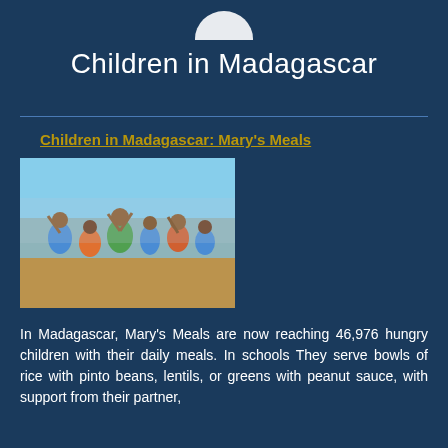[Figure (logo): Mary's Meals logo - partial circular logo visible at top]
Children in Madagascar
Children in Madagascar: Mary's Meals
[Figure (photo): A group of happy children in Madagascar, many raising their hands and celebrating outdoors]
In Madagascar, Mary's Meals are now reaching 46,976 hungry children with their daily meals. In schools They serve bowls of rice with pinto beans, lentils, or greens with peanut sauce, with support from their partner,